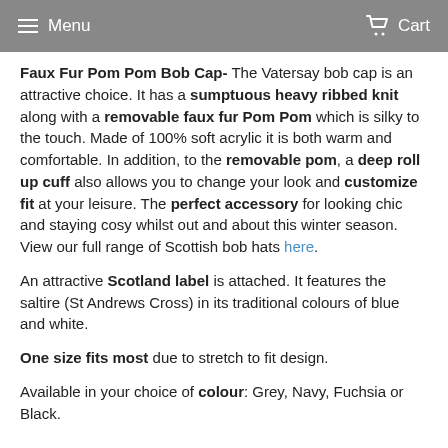Menu  Cart
Faux Fur Pom Pom Bob Cap- The Vatersay bob cap is an attractive choice. It has a sumptuous heavy ribbed knit along with a removable faux fur Pom Pom which is silky to the touch. Made of 100% soft acrylic it is both warm and comfortable. In addition, to the removable pom, a deep roll up cuff also allows you to change your look and customize fit at your leisure. The perfect accessory for looking chic and staying cosy whilst out and about this winter season. View our full range of Scottish bob hats here.
An attractive Scotland label is attached. It features the saltire (St Andrews Cross) in its traditional colours of blue and white.
One size fits most due to stretch to fit design.
Available in your choice of colour: Grey, Navy, Fuchsia or Black.